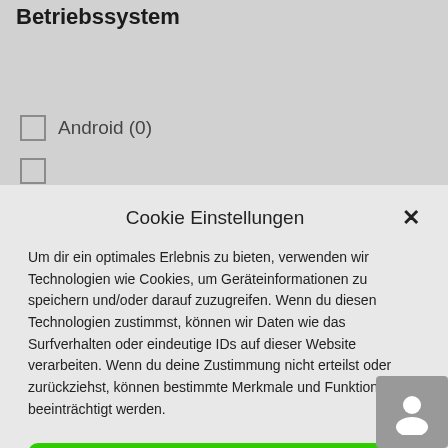Betriebssystem
Android (0)
Cookie Einstellungen
Um dir ein optimales Erlebnis zu bieten, verwenden wir Technologien wie Cookies, um Geräteinformationen zu speichern und/oder darauf zuzugreifen. Wenn du diesen Technologien zustimmst, können wir Daten wie das Surfverhalten oder eindeutige IDs auf dieser Website verarbeiten. Wenn du deine Zustimmung nicht erteilst oder zurückziehst, können bestimmte Merkmale und Funktionen beeinträchtigt werden.
Akzeptieren
ablehnen
Einstellungen